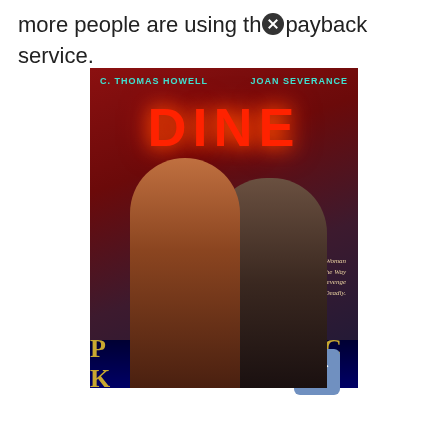more people are using the payback service.
[Figure (photo): Movie poster for 'Payback' featuring C. Thomas Howell and Joan Severance. Two figures embrace in the rain in front of a neon DINER sign. Tagline reads: 'When A Woman Stands In The Way Of A Man's Revenge It Can Be Deadly.' The title PAYBACK appears at the bottom in gold letters on a dark blue background.]